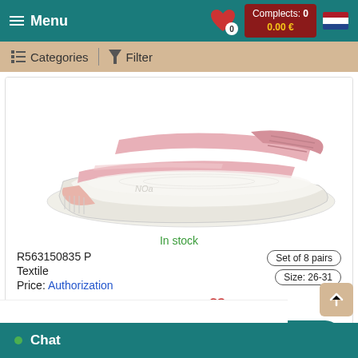Menu | Categories | Filter | Complects: 0 | 0.00 €
[Figure (photo): Pink children's sandal with velcro strap and white sole, product photo on white background]
In stock
R563150835 P
Textile
Price: Authorization
Set of 8 pairs
Size: 26-31
Add to wishlist
Details
Chat